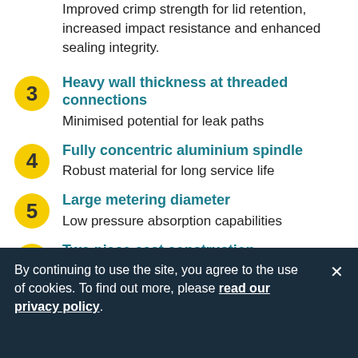Improved crimp strength for lid retention, increased impact resistance and enhanced sealing integrity.
3 Heavy wall thickness at threaded connections
Minimised potential for leak paths
4 Fully concentric aluminium spindle
Robust material for long service life
5 Large metering diameter
Low pressure absorption capabilities
6 Two piece cast construction
By continuing to use the site, you agree to the use of cookies. To find out more, please read our privacy policy.